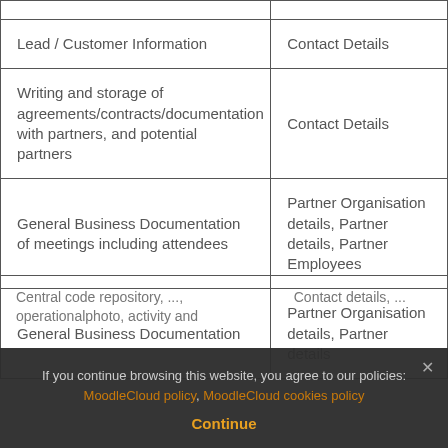|  |  |
| --- | --- |
| Lead / Customer Information | Contact Details |
| Writing and storage of agreements/contracts/documentation with partners, and potential partners | Contact Details |
| General Business Documentation of meetings including attendees | Partner Organisation details, Partner details, Partner Employees |
| General Business Documentation | Partner Organisation details, Partner details |
| Central code repository, ..., operationalphoto, activity and | Contact details, ... |
If you continue browsing this website, you agree to our policies: MoodleCloud policy, MoodleCloud cookies policy
Continue